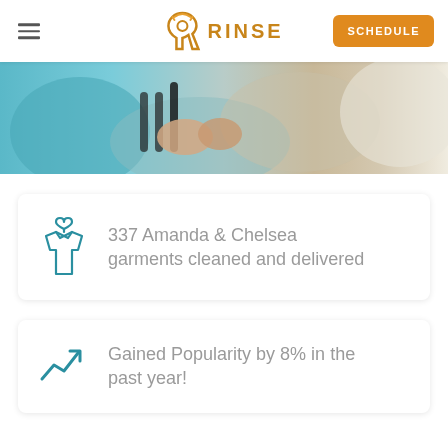RINSE | SCHEDULE
[Figure (photo): Hero image showing hands exchanging or holding garments/bags, with people in casual clothing visible]
337 Amanda & Chelsea garments cleaned and delivered
Gained Popularity by 8% in the past year!